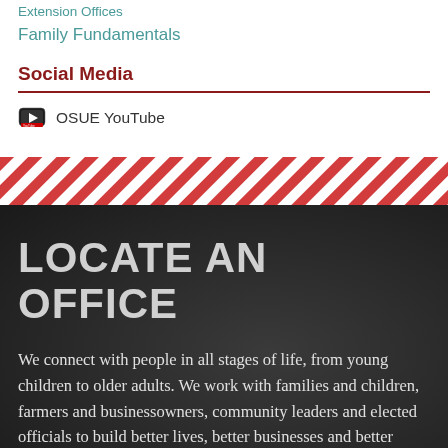Extension Offices
Family Fundamentals
Social Media
OSUE YouTube
[Figure (illustration): Diagonal red and white stripe decorative band divider]
LOCATE AN OFFICE
We connect with people in all stages of life, from young children to older adults. We work with families and children, farmers and businessowners, community leaders and elected officials to build better lives, better businesses and better